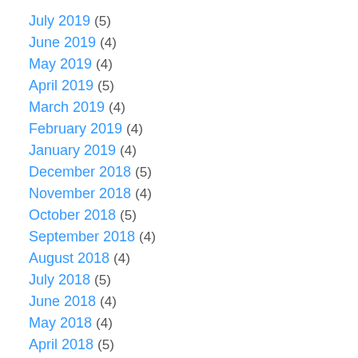July 2019 (5)
June 2019 (4)
May 2019 (4)
April 2019 (5)
March 2019 (4)
February 2019 (4)
January 2019 (4)
December 2018 (5)
November 2018 (4)
October 2018 (5)
September 2018 (4)
August 2018 (4)
July 2018 (5)
June 2018 (4)
May 2018 (4)
April 2018 (5)